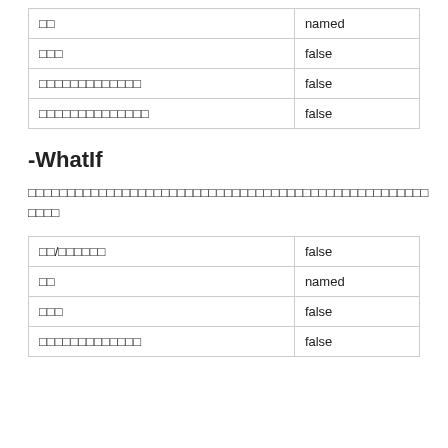| □□ | named |
| □□□ | false |
| □□□□□□□□□□□□□ | false |
| □□□□□□□□□□□□□□ | false |
-WhatIf
□□□□□□□□□□□□□□□□□□□□□□□□□□□□□□□□□□□□□□□□□□□□□□□□□ □□□□
| □□/□□□□□□ | false |
| □□ | named |
| □□□ | false |
| □□□□□□□□□□□□□ | false |